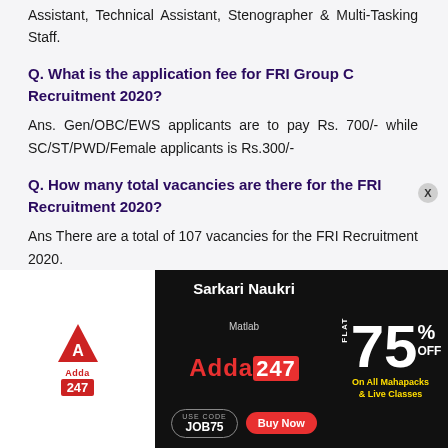Assistant, Technical Assistant, Stenographer & Multi-Tasking Staff.
Q. What is the application fee for FRI Group C Recruitment 2020?
Ans. Gen/OBC/EWS applicants are to pay Rs. 700/- while SC/ST/PWD/Female applicants is Rs.300/-
Q. How many total vacancies are there for the FRI Recruitment 2020?
Ans There are a total of 107 vacancies for the FRI Recruitment 2020.
Q. O...
Ans. ...mode
[Figure (other): Adda247 advertisement banner for Sarkari Naukri - Flat 75% off on All Mahapacks & Live Classes. Use code JOB75. Buy Now button.]